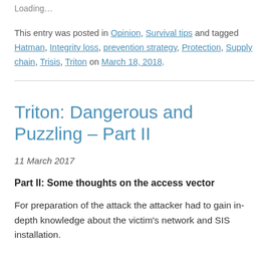Loading…
This entry was posted in Opinion, Survival tips and tagged Hatman, Integrity loss, prevention strategy, Protection, Supply chain, Trisis, Triton on March 18, 2018.
Triton: Dangerous and Puzzling – Part II
11 March 2017
Part II: Some thoughts on the access vector
For preparation of the attack the attacker had to gain in-depth knowledge about the victim's network and SIS installation.